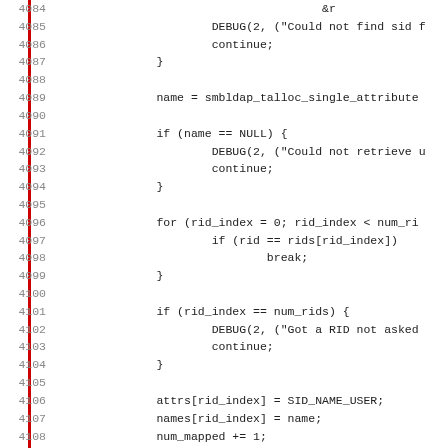[Figure (screenshot): Source code listing with line numbers 4084-4115, showing C code for LDAP SID/RID lookup logic including DEBUG statements, for loops, and conditional checks.]